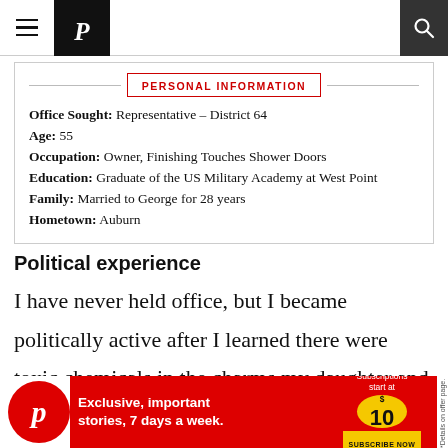The Seattle Times — navigation bar with hamburger menu, logo, and search icon
| Field | Value |
| --- | --- |
| Office Sought | Representative – District 64 |
| Age | 55 |
| Occupation | Owner, Finishing Touches Shower Doors |
| Education | Graduate of the US Military Academy at West Point |
| Family | Married to George for 28 years |
| Hometown | Auburn |
Political experience
I have never held office, but I became politically active after I learned there were toxic chemicals in the charms my daughter and
[Figure (advertisement): Seattle Times subscription ad: red circle with P logo, red background with text 'Exclusive, important stories, 7 days a week.' and yellow circle showing $10 price with 'Subscribe Now' button]